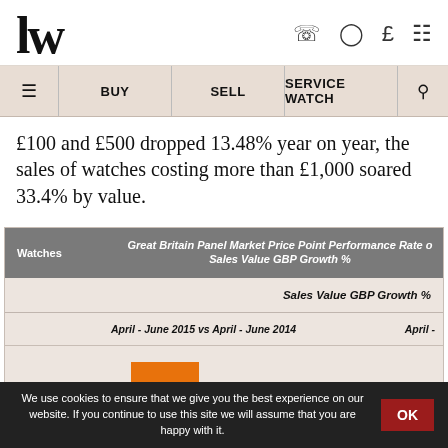LW
£100 and £500 dropped 13.48% year on year, the sales of watches costing more than £1,000 soared 33.4% by value.
| Watches | Great Britain Panel Market Price Point Performance Rate of Sales Value GBP Growth % | Sales Value GBP Growth % | April - June 2015 vs April - June 2014 | April - |
| --- | --- | --- | --- | --- |
| TOTAL | 8.0 |  |
We use cookies to ensure that we give you the best experience on our website. If you continue to use this site we will assume that you are happy with it.